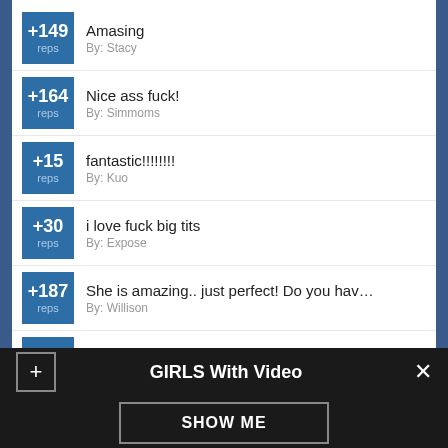+149 reps — Amasing — By: Stacy
+164 reps — Nice ass fuck! — By: Simmoms
+15 reps — fantastic!!!!!!!!! — By: Kuo
+30 reps — i love fuck big tits — By: Expose
+187 reps — She is amazing.. just perfect! Do you hav... — By: Willison
+20 reps — nuthin ugly about this big cunt I want the ... — By: Waley
[Figure (screenshot): Sex Dating advertisement banner with a photo of a blonde woman]
GIRLS With Video
SHOW ME